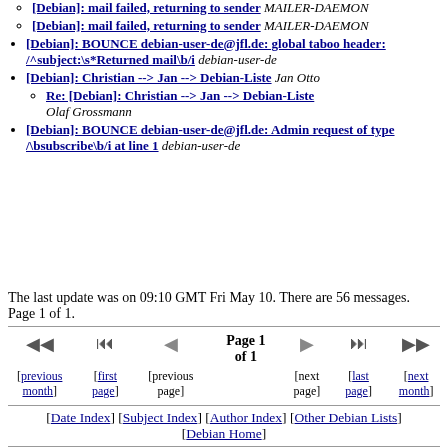[Debian]: mail failed, returning to sender MAILER-DAEMON (sub-item)
[Debian]: mail failed, returning to sender MAILER-DAEMON (sub-item)
[Debian]: BOUNCE debian-user-de@jfl.de: global taboo header: /^subject:\s*Returned mail\b/i debian-user-de
[Debian]: Christian --> Jan --> Debian-Liste Jan Otto
Re: [Debian]: Christian --> Jan --> Debian-Liste Olaf Grossmann (sub-item)
[Debian]: BOUNCE debian-user-de@jfl.de: Admin request of type /\bsubscribe\b/i at line 1 debian-user-de
The last update was on 09:10 GMT Fri May 10. There are 56 messages. Page 1 of 1.
[Figure (other): Navigation bar with previous month, first page, previous page, Page 1 of 1, next page, last page, next month controls]
[Date Index] [Subject Index] [Author Index] [Other Debian Lists] [Debian Home]
Mail converted by MHonArc